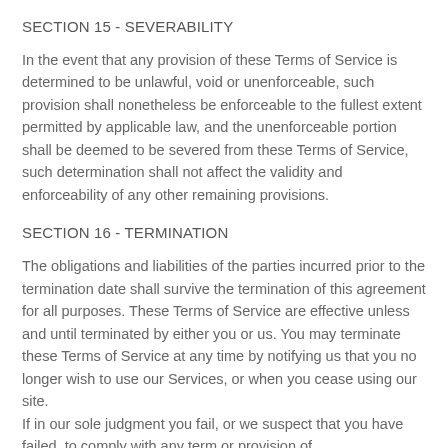SECTION 15 - SEVERABILITY
In the event that any provision of these Terms of Service is determined to be unlawful, void or unenforceable, such provision shall nonetheless be enforceable to the fullest extent permitted by applicable law, and the unenforceable portion shall be deemed to be severed from these Terms of Service, such determination shall not affect the validity and enforceability of any other remaining provisions.
SECTION 16 - TERMINATION
The obligations and liabilities of the parties incurred prior to the termination date shall survive the termination of this agreement for all purposes. These Terms of Service are effective unless and until terminated by either you or us. You may terminate these Terms of Service at any time by notifying us that you no longer wish to use our Services, or when you cease using our site.
If in our sole judgment you fail, or we suspect that you have failed, to comply with any term or provision of